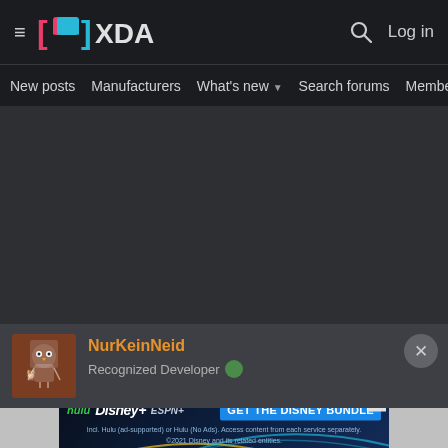XDA Developers - hamburger menu, XDA logo, search, Log in
New posts | Manufacturers | What's new | Search forums | Membe >
[Figure (screenshot): Large dark empty content area]
NurKeinNeid
Recognized Developer
[Figure (photo): Advertisement banner: Hulu Disney+ ESPN+ GET THE DISNEY BUNDLE. Incl. Hulu (ad-supported) or Hulu (No Ads). Access content from each service separately. ©2021 Disney and its related entities.]